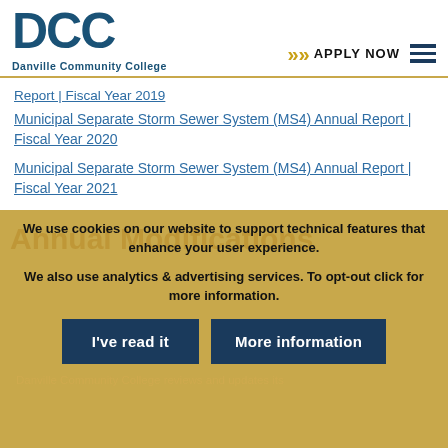[Figure (logo): DCC Danville Community College logo with blue text and gold underline]
[Figure (infographic): Apply Now button with gold chevrons and hamburger menu icon]
Report | Fiscal Year 2019
Municipal Separate Storm Sewer System (MS4) Annual Report | Fiscal Year 2020
Municipal Separate Storm Sewer System (MS4) Annual Report | Fiscal Year 2021
VCCS Annual Standards and Specifications
We use cookies on our website to support technical features that enhance your user experience.

We also use analytics & advertising services. To opt-out click for more information.
Annual Modifications
Danville Community College reviews and updates its